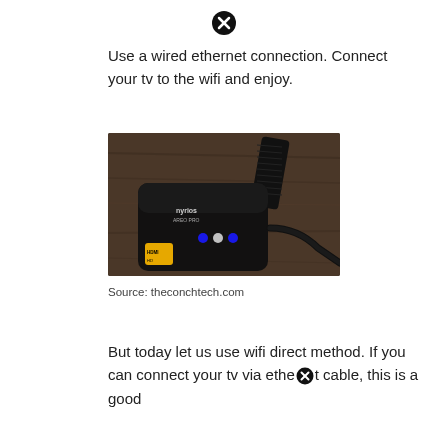[Figure (other): Black circle with X icon (close/cancel symbol)]
Use a wired ethernet connection. Connect your tv to the wifi and enjoy.
[Figure (photo): Photo of a Nyrius wireless HD video transmitter/receiver device (black box with logo and LED indicators) with a cable plugged in, placed on a wooden surface alongside a black remote control.]
Source: theconchtech.com
But today let us use wifi direct method. If you can connect your tv via ethe✕t cable, this is a good